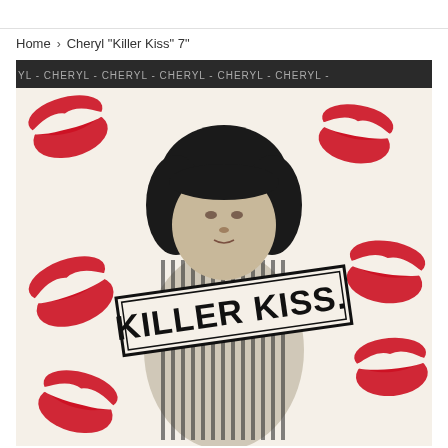Home › Cheryl "Killer Kiss" 7"
[Figure (photo): Album cover for Cheryl 'Killer Kiss' 7" single. Black and white photo of a woman with curly dark hair sitting cross-legged wearing a striped outfit. Behind her is a cream/off-white background with large red lipstick kiss marks scattered around. A banner across the middle reads 'Killer Kiss.' in bold stylized lettering. At the top is a dark strip with 'CHERYL-CHERYL-CHERYL-CHERYL-CHERYL-CHERYL-' repeated text.]